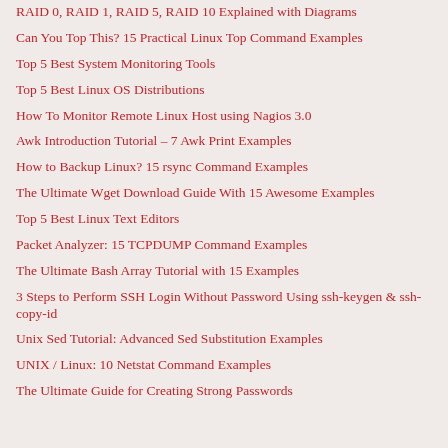RAID 0, RAID 1, RAID 5, RAID 10 Explained with Diagrams
Can You Top This? 15 Practical Linux Top Command Examples
Top 5 Best System Monitoring Tools
Top 5 Best Linux OS Distributions
How To Monitor Remote Linux Host using Nagios 3.0
Awk Introduction Tutorial – 7 Awk Print Examples
How to Backup Linux? 15 rsync Command Examples
The Ultimate Wget Download Guide With 15 Awesome Examples
Top 5 Best Linux Text Editors
Packet Analyzer: 15 TCPDUMP Command Examples
The Ultimate Bash Array Tutorial with 15 Examples
3 Steps to Perform SSH Login Without Password Using ssh-keygen & ssh-copy-id
Unix Sed Tutorial: Advanced Sed Substitution Examples
UNIX / Linux: 10 Netstat Command Examples
The Ultimate Guide for Creating Strong Passwords